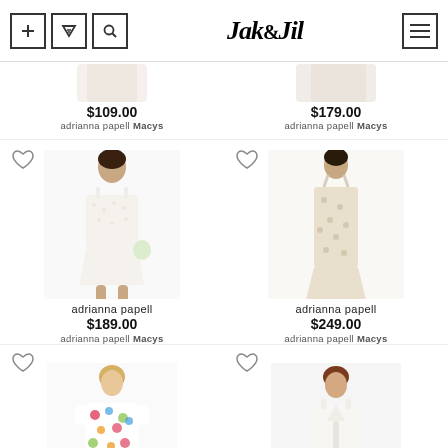Jak & Jil
[Figure (photo): Partial product listing – adrianna papell dress $109.00 at adrianna papell Macys]
[Figure (photo): Partial product listing – adrianna papell dress $179.00 at adrianna papell Macys]
[Figure (photo): adrianna papell white lace short dress $189.00 at adrianna papell Macys]
[Figure (photo): adrianna papell floral midi dress $249.00 at adrianna papell Macys]
[Figure (photo): Partial product listing – floral dress, bottom cropped]
[Figure (photo): Partial product listing – white dress, bottom cropped]